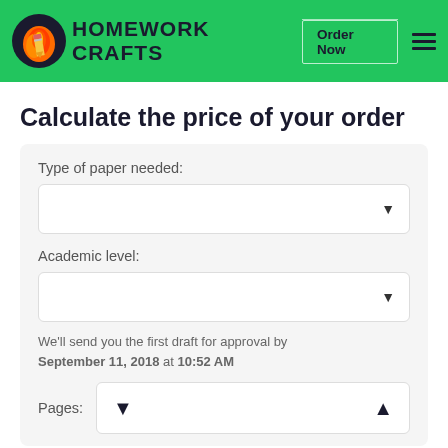HOMEWORK CRAFTS | Order Now
Calculate the price of your order
Type of paper needed:
Academic level:
We'll send you the first draft for approval by September 11, 2018 at 10:52 AM
Pages: